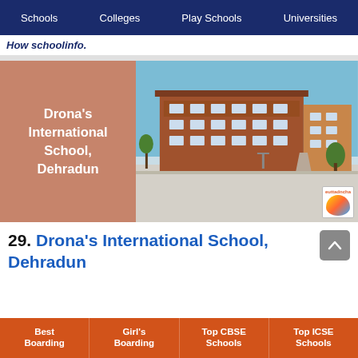Schools | Colleges | Play Schools | Universities
How schoolinfo.
[Figure (photo): School building photo with left overlay panel showing 'Drona's International School, Dehradun' text on terracotta-colored background]
29. Drona's International School, Dehradun
Best Boarding | Girl's Boarding | Top CBSE Schools | Top ICSE Schools